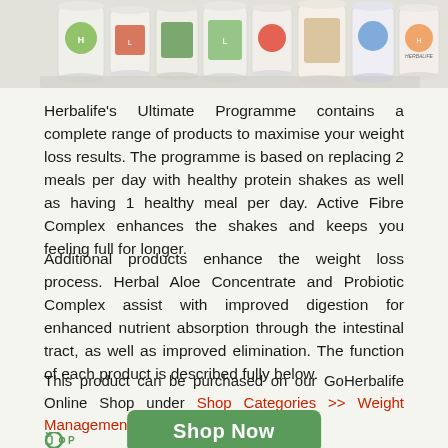[Figure (photo): Row of Herbalife product canisters/tubs displayed against a light background]
Herbalife's Ultimate Programme contains a complete range of products to maximise your weight loss results. The programme is based on replacing 2 meals per day with healthy protein shakes as well as having 1 healthy meal per day. Active Fibre Complex enhances the shakes and keeps you feeling full for longer.
Additional products enhance the weight loss process. Herbal Aloe Concentrate and Probiotic Complex assist with improved digestion for enhanced nutrient absorption through the intestinal tract, as well as improved elimination. The function of each product is described fully below.
This product can be purchased on our GoHerbalife Online Shop under Shop Categories >> Weight Management >> Programmes
[Figure (other): Green rounded rectangle button with text 'Shop Now']
[Figure (other): Partial green puzzle-piece icon at bottom left, partially cut off]